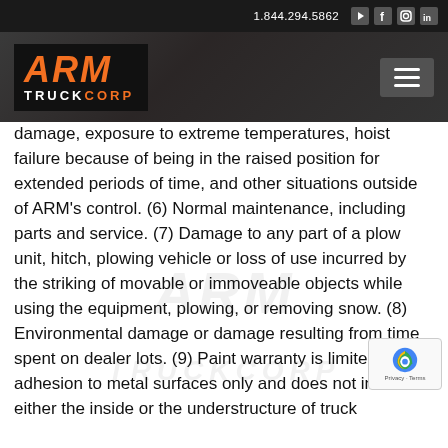1.844.294.5862
[Figure (logo): ARM TruckCorp logo in orange and white on dark background with hamburger menu icon]
damage, exposure to extreme temperatures, hoist failure because of being in the raised position for extended periods of time, and other situations outside of ARM’s control. (6) Normal maintenance, including parts and service. (7) Damage to any part of a plow unit, hitch, plowing vehicle or loss of use incurred by the striking of movable or immoveable objects while using the equipment, plowing, or removing snow. (8) Environmental damage or damage resulting from time spent on dealer lots. (9) Paint warranty is limited to adhesion to metal surfaces only and does not include either the inside or the understructure of truck